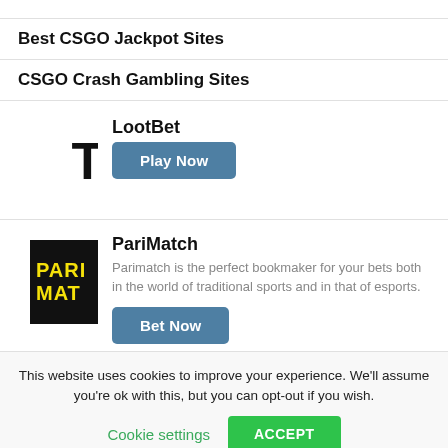Best CSGO Jackpot Sites
CSGO Crash Gambling Sites
[Figure (logo): LootBet logo — black bold 'T.' text, cropped on left]
LootBet
Play Now
[Figure (logo): PariMatch logo — black background with yellow bold text 'PARI' and 'MAT' (cropped)]
PariMatch
Parimatch is the perfect bookmaker for your bets both in the world of traditional sports and in that of esports.
Bet Now
This website uses cookies to improve your experience. We'll assume you're ok with this, but you can opt-out if you wish.
Cookie settings
ACCEPT